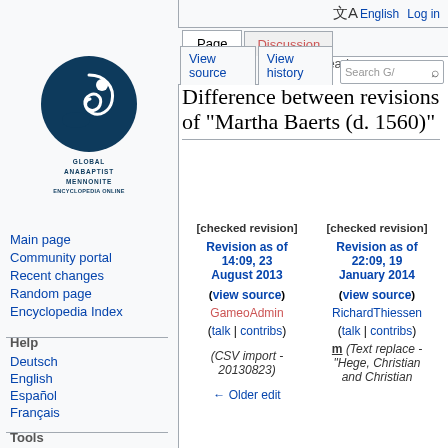English  Log in
[Figure (logo): Global Anabaptist Mennonite Encyclopedia Online logo — dark teal circle with bird/swirl motif, text below reading GLOBAL ANABAPTIST MENNONITE ENCYCLOPEDIA ONLINE]
Main page
Community portal
Recent changes
Random page
Encyclopedia Index
Help
Deutsch
English
Español
Français
Tools
What links here
Difference between revisions of "Martha Baerts (d. 1560)"
| [checked revision] | [checked revision] |
| --- | --- |
| Revision as of 14:09, 23 August 2013 (view source) GameoAdmin (talk | contribs) (CSV import - 20130823)
← Older edit | Revision as of 22:09, 19 January 2014 (view source) RichardThiessen (talk | contribs) m (Text replace - "Hege, Christian and Christian |